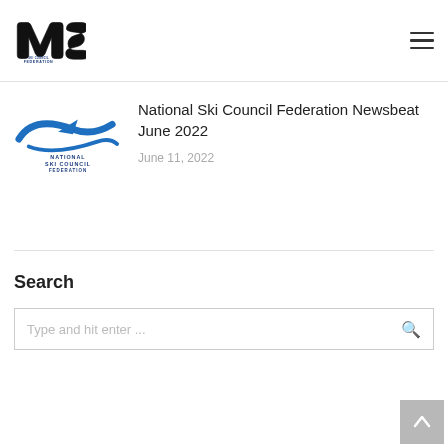MSC Ski Council Federation — navigation header
[Figure (logo): National Ski Council Federation logo with blue swoosh and text NATIONAL SKI COUNCIL FEDERATION]
National Ski Council Federation Newsbeat June 2022
June 11, 2022
Search
Type and hit enter ...